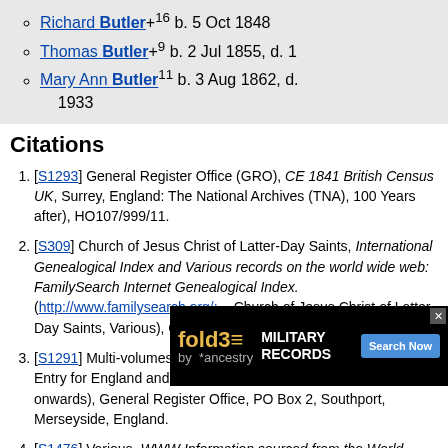Richard Butler+16 b. 5 Oct 1848
Thomas Butler+9 b. 2 Jul 1855, d. 1
Mary Ann Butler11 b. 3 Aug 1862, d. 1933
Citations
[S1293] General Register Office (GRO), CE 1841 British Census UK, Surrey, England: The National Archives (TNA), 100 Years after), HO107/999/11.
[S309] Church of Jesus Christ of Latter-Day Saints, International Genealogical Index and Various records on the world wide web: FamilySearch Internet Genealogical Index. (http://www.familysearch.org/: Church of Jesus Christ of Latter-Day Saints, Various), C010203.
[S1291] Multi-volumes, DC0000 General Register Office Index Entry for England and Wales: Holborn Vol 1b page 506, (1837 onwards), General Register Office, PO Box 2, Southport, Merseyside, England.
[S1476] Various, WWW Information sourced from the World Wide Web (Various, Various), http://en.wikipedia.org/wiki/Wolverhampton Statue of Wulfruna on western side of St. Peter's Collegiate Church.
[S1290] Multi-volumes, MC0000 General Register Office Index Entry Marriages for England and Wales: Wolverhampton Vol 17 page 342, (1837 onwards), General Register Office, PO Box 2, Southport, Merseyside
[S1488] Various, WWW Emails received in response to the website: others, 17 Jul 2010
[S...] Multi-volumes, ... Index Entry for ..., (1837 onw...